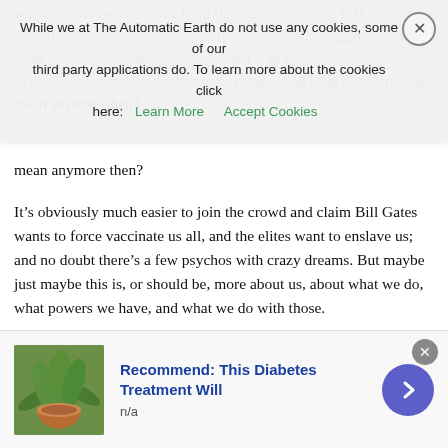wanted to prevent the virus from finding new hosts. It is that clear. And, there are always at least out they... cozy in... to aggressively inform... vaccination policy... until... all groups to live in very small and separated... camps. And what does 'freedom' mean anymore then?
While we at The Automatic Earth do not use any cookies, some of our third party applications do. To learn more about the cookies click here:  Learn More   Accept Cookies
It's obviously much easier to join the crowd and claim Bill Gates wants to force vaccinate us all, and the elites want to enslave us; and no doubt there's a few psychos with crazy dreams. But maybe just maybe this is, or should be, more about us, about what we do, what powers we have, and what we do with those.
If the elites, or whoever else, wants to use the virus to make you their bitch, don't let them. But do you really believe that letting a virus with just the right mix of lethal and contagious, run wild and undetected in your society, is the way to achieve that? Or might it be better to wear a face mask in public for a bit and get tested, or test yourself, until the virus is gone?
[Figure (other): Advertisement banner: image of a bowl/cup with plant leaves, text 'Recommend: This Diabetes Treatment Will', subtext 'n/a', purple arrow button]